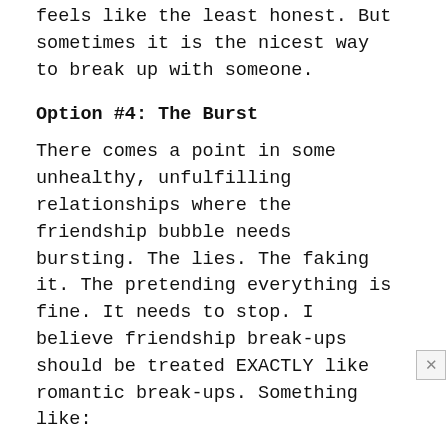feels like the least honest. But sometimes it is the nicest way to break up with someone.
Option #4: The Burst
There comes a point in some unhealthy, unfulfilling relationships where the friendship bubble needs bursting. The lies. The faking it. The pretending everything is fine. It needs to stop. I believe friendship break-ups should be treated EXACTLY like romantic break-ups. Something like:
Hey, I know we have had trouble getting together over the last few months. I think that is mostly my fault. I have been pulling away. I